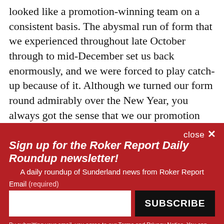looked like a promotion-winning team on a consistent basis. The abysmal run of form that we experienced throughout late October through to mid-December set us back enormously, and we were forced to play catch-up because of it. Although we turned our form round admirably over the New Year, you always got the sense that we our promotion hopes were extremely
close ×
Sign up for the Roker Report Daily Roundup newsletter!
A daily roundup of Sunderland news from Roker Report
Email (required)
SUBSCRIBE
By submitting your email, you agree to our Terms and Privacy Notice. You can opt out at any time. This site is protected by reCAPTCHA and the Google Privacy Policy and Terms of Service apply.